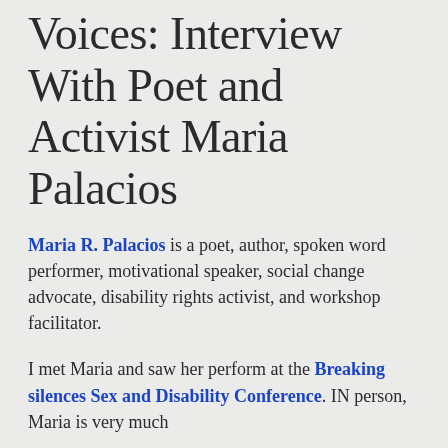Voices: Interview With Poet and Activist Maria Palacios
Maria R. Palacios is a poet, author, spoken word performer, motivational speaker, social change advocate, disability rights activist, and workshop facilitator.
I met Maria and saw her perform at the Breaking silences Sex and Disability Conference. IN person, Maria is very much